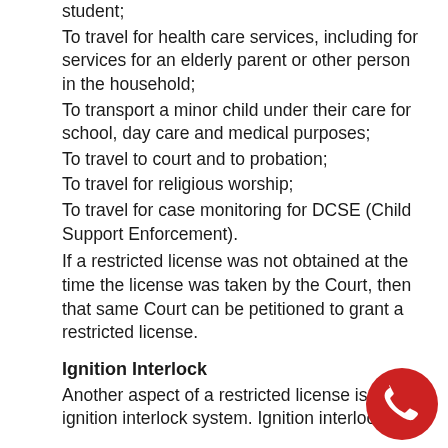student;
To travel for health care services, including for services for an elderly parent or other person in the household;
To transport a minor child under their care for school, day care and medical purposes;
To travel to court and to probation;
To travel for religious worship;
To travel for case monitoring for DCSE (Child Support Enforcement).
If a restricted license was not obtained at the time the license was taken by the Court, then that same Court can be petitioned to grant a restricted license.
Ignition Interlock
Another aspect of a restricted license is the ignition interlock system. Ignition interlock can